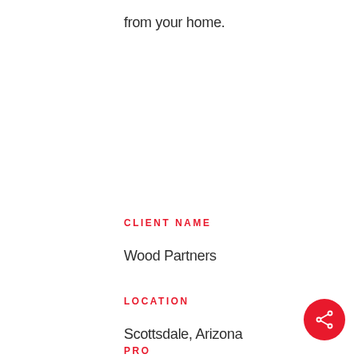from your home.
CLIENT NAME
Wood Partners
LOCATION
Scottsdale, Arizona
PROJECT TYPE